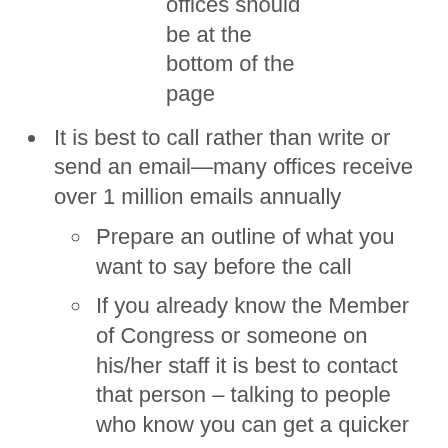offices should be at the bottom of the page
It is best to call rather than write or send an email—many offices receive over 1 million emails annually
Prepare an outline of what you want to say before the call
If you already know the Member of Congress or someone on his/her staff it is best to contact that person – talking to people who know you can get a quicker response
If you don't know someone in the office ask for the